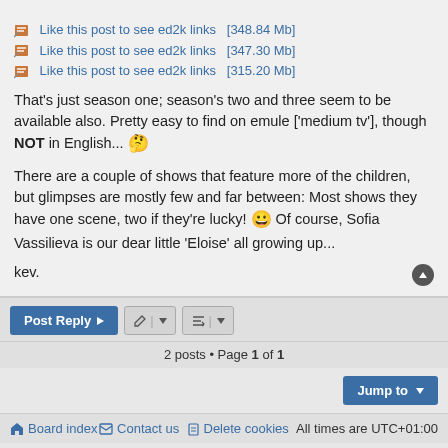Like this post to see ed2k links  [348.84 Mb]
Like this post to see ed2k links  [347.30 Mb]
Like this post to see ed2k links  [315.20 Mb]
That's just season one; season's two and three seem to be available also. Pretty easy to find on emule ['medium tv'], though NOT in English... 🤔
There are a couple of shows that feature more of the children, but glimpses are mostly few and far between: Most shows they have one scene, two if they're lucky! 😀 Of course, Sofia Vassilieva is our dear little 'Eloise' all growing up...
kev.
2 posts • Page 1 of 1
Board index   Contact us   Delete cookies   All times are UTC+01:00
Powered by phpBB® Forum Software © phpBB Limited
Style by Arty - phpBB 3.3 by MrGaby
Privacy | Terms